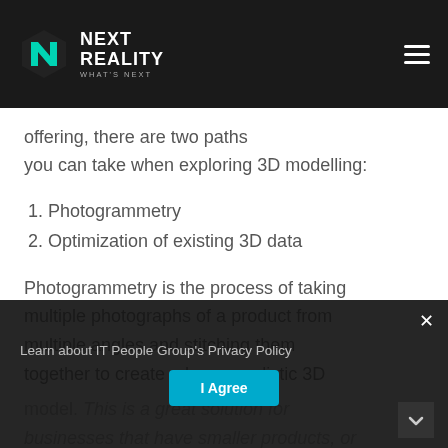NEXT REALITY — WHAT'S NEXT
offering, there are two paths you can take when exploring 3D modelling:
1. Photogrammetry
2. Optimization of existing 3D data
Photogrammetry is the process of taking multiple photographs of a product from multiple angles and stitching them together to create a hyper-realistic 3D model. This is a great solution for businesses that have smaller products, or those with a lot...
Learn about IT People Group's Privacy Policy
I Agree